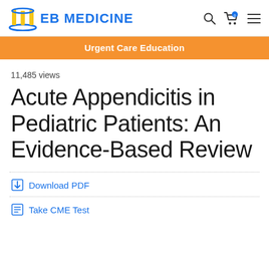EB MEDICINE
Urgent Care Education
11,485 views
Acute Appendicitis in Pediatric Patients: An Evidence-Based Review
Download PDF
Take CME Test